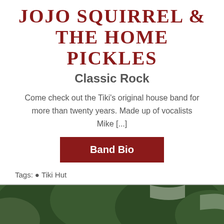JOJO SQUIRREL & THE HOME PICKLES
Classic Rock
Come check out the Tiki's original house band for more than twenty years. Made up of vocalists Mike [...]
Band Bio
Tags: 🏷 Tiki Hut
[Figure (photo): Outdoor venue at night with string lights hanging over trees, photo used as event background image]
SAT, SEP 17
6:00 PM